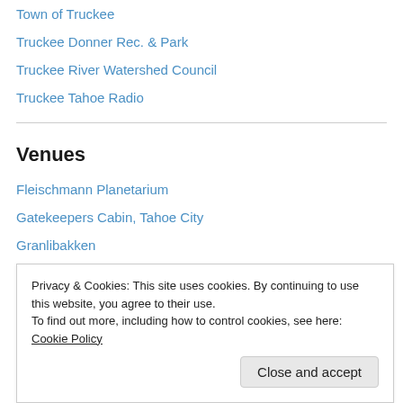Town of Truckee
Truckee Donner Rec. & Park
Truckee River Watershed Council
Truckee Tahoe Radio
Venues
Fleischmann Planetarium
Gatekeepers Cabin, Tahoe City
Granlibakken
Harvey's Outdoor Arena
Hawkins Amphitheater
Nev. Museum of Art
Sugar Pine Point State Park
Privacy & Cookies: This site uses cookies. By continuing to use this website, you agree to their use. To find out more, including how to control cookies, see here: Cookie Policy